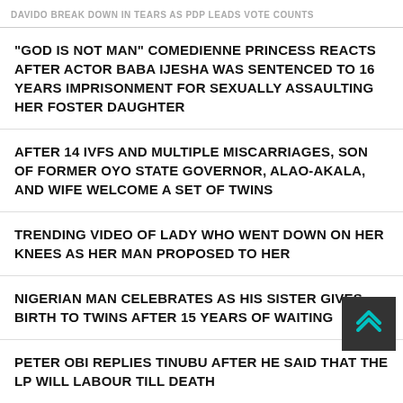DAVIDO BREAK DOWN IN TEARS AS PDP LEADS VOTE COUNTS
"GOD IS NOT MAN" COMEDIENNE PRINCESS REACTS AFTER ACTOR BABA IJESHA WAS SENTENCED TO 16 YEARS IMPRISONMENT FOR SEXUALLY ASSAULTING HER FOSTER DAUGHTER
AFTER 14 IVFS AND MULTIPLE MISCARRIAGES, SON OF FORMER OYO STATE GOVERNOR, ALAO-AKALA, AND WIFE WELCOME A SET OF TWINS
TRENDING VIDEO OF LADY WHO WENT DOWN ON HER KNEES AS HER MAN PROPOSED TO HER
NIGERIAN MAN CELEBRATES AS HIS SISTER GIVES BIRTH TO TWINS AFTER 15 YEARS OF WAITING
PETER OBI REPLIES TINUBU AFTER HE SAID THAT THE LP WILL LABOUR TILL DEATH
NIGERIAN COUPLE WELCOME TWINS AFTER 14 YEARS OF